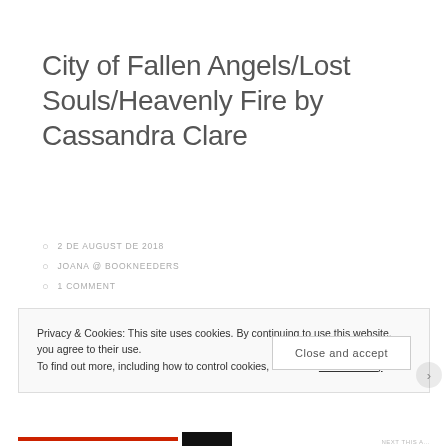City of Fallen Angels/Lost Souls/Heavenly Fire by Cassandra Clare
2 DE AUGUST DE 2018
JOANA @ BOOKNEEDERS
1 COMMENT
Privacy & Cookies: This site uses cookies. By continuing to use this website, you agree to their use.
To find out more, including how to control cookies, see here: Cookie Policy
Close and accept